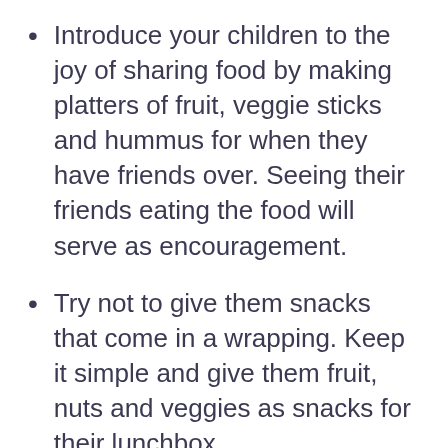Introduce your children to the joy of sharing food by making platters of fruit, veggie sticks and hummus for when they have friends over. Seeing their friends eating the food will serve as encouragement.
Try not to give them snacks that come in a wrapping. Keep it simple and give them fruit, nuts and veggies as snacks for their lunchbox.
Include them as much as you can in the cooking, preparing (and even